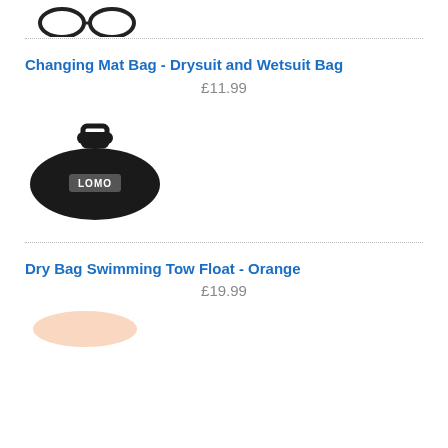[Figure (photo): Partial view of a product image at the top of the page, showing what appears to be goggles or a similar product in grey/black.]
Changing Mat Bag - Drysuit and Wetsuit Bag
£11.99
[Figure (photo): Photo of a black Lomo changing mat bag with handle on top, semi-circular shape, with LOMO logo on front.]
Dry Bag Swimming Tow Float - Orange
£19.99
[Figure (photo): Partial/faded image of a Dry Bag Swimming Tow Float in orange at the bottom of the page, mostly cut off.]